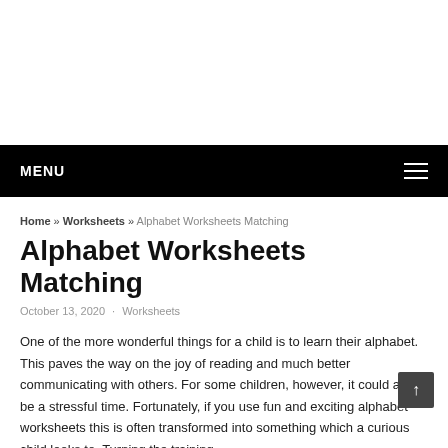MENU
Home » Worksheets » Alphabet Worksheets Matching
Alphabet Worksheets Matching
October 13, 2020 · Worksheets
One of the more wonderful things for a child is to learn their alphabet. This paves the way on the joy of reading and much better communicating with others. For some children, however, it could also be a stressful time. Fortunately, if you use fun and exciting alphabet worksheets this is often transformed into something which a curious child looks to. Turning the training